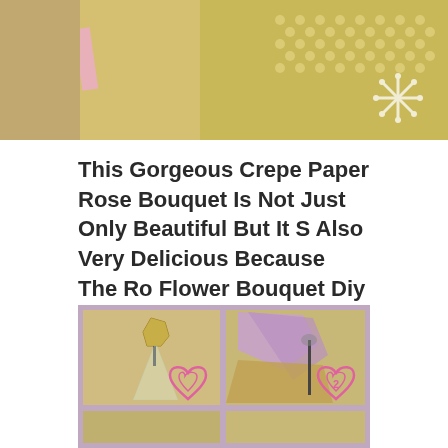[Figure (photo): Top cropped image showing gold/pearl wrapped gift with pink ribbon and snowflake decoration on the right side]
This Gorgeous Crepe Paper Rose Bouquet Is Not Just Only Beautiful But It S Also Very Delicious Because The Ro Flower Bouquet Diy Paper Roses Crepe Paper Roses
[Figure (photo): Step-by-step photo grid with purple border showing 4 steps of making a crepe paper rose bouquet. Step 1: gold candy wrapped in clear cellophane on a stick. Step 2: purple tissue paper and tan/gold paper being wrapped around candy on stick. Steps 3 and 4 partially visible at bottom.]